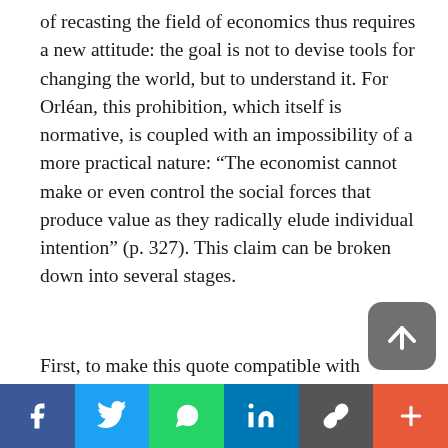of recasting the field of economics thus requires a new attitude: the goal is not to devise tools for changing the world, but to understand it. For Orléan, this prohibition, which itself is normative, is coupled with an impossibility of a more practical nature: “The economist cannot make or even control the social forces that produce value as they radically elude individual intention” (p. 327). This claim can be broken down into several stages.
First, to make this quote compatible with
[Figure (other): Scroll-to-top button: dark grey rounded square with upward arrow icon]
[Figure (other): Social sharing bar with buttons for Facebook (blue), Twitter (light blue), WhatsApp (green), LinkedIn (dark blue), link/copy (dark grey), and more (orange-red)]